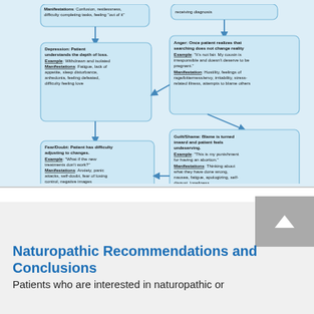[Figure (flowchart): Grief/loss stages flowchart showing Depression, Fear/Doubt, Anger, and Guilt/Shame boxes with arrows connecting them. Each box contains bold title, underlined Example and Manifestations. Depression: Patient understands the depth of loss. Fear/Doubt: Patient has difficulty adjusting to changes. Anger: Once patient realizes that searching does not change reality. Guilt/Shame: Blame is turned inward and patient feels undeserving.]
Naturopathic Recommendations and Conclusions
Patients who are interested in naturopathic or